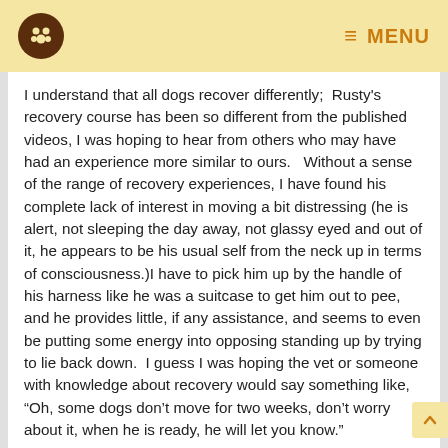MENU
I understand that all dogs recover differently;  Rusty's recovery course has been so different from the published videos, I was hoping to hear from others who may have had an experience more similar to ours.   Without a sense of the range of recovery experiences, I have found his complete lack of interest in moving a bit distressing (he is alert, not sleeping the day away, not glassy eyed and out of it, he appears to be his usual self from the neck up in terms of consciousness.)I have to pick him up by the handle of his harness like he was a suitcase to get him out to pee, and he provides little, if any assistance, and seems to even be putting some energy into opposing standing up by trying to lie back down.  I guess I was hoping the vet or someone with knowledge about recovery would say something like, “Oh, some dogs don’t move for two weeks, don’t worry about it, when he is ready, he will let you know.”